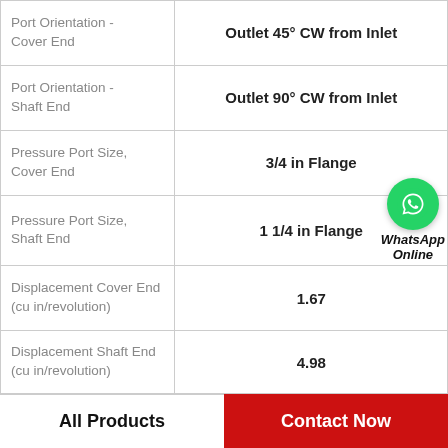| Specification | Value |
| --- | --- |
| Port Orientation - Cover End | Outlet 45° CW from Inlet |
| Port Orientation - Shaft End | Outlet 90° CW from Inlet |
| Pressure Port Size, Cover End | 3/4 in Flange |
| Pressure Port Size, Shaft End | 1 1/4 in Flange |
| Displacement Cover End (cu in/revolution) | 1.67 |
| Displacement Shaft End (cu in/revolution) | 4.98 |
All Products    Contact Now